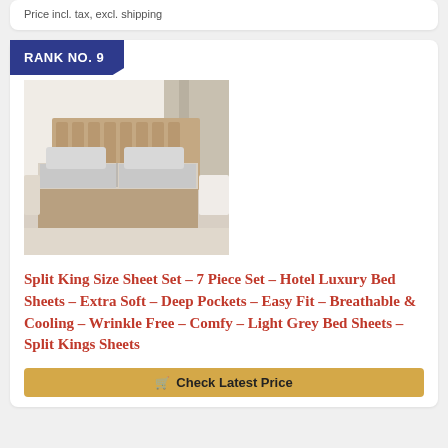Price incl. tax, excl. shipping
RANK NO. 9
[Figure (photo): A bed with light grey sheets in a modern bedroom with a beige upholstered headboard and white nightstands]
Split King Size Sheet Set – 7 Piece Set – Hotel Luxury Bed Sheets – Extra Soft – Deep Pockets – Easy Fit – Breathable & Cooling – Wrinkle Free – Comfy – Light Grey Bed Sheets – Split Kings Sheets
Check Latest Price